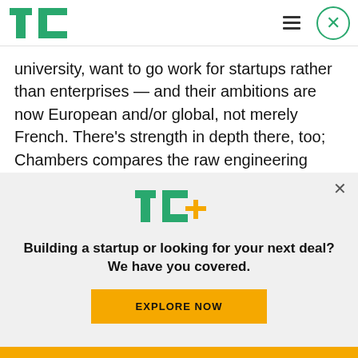TechCrunch header with logo, hamburger menu, and close button
university, want to go work for startups rather than enterprises — and their ambitions are now European and/or global, not merely French. There's strength in depth there, too; Chambers compares the raw engineering talent at the Polytechnique to that at Stanford, and France is one Fields Medal away from overtaking the USA in total numbers
[Figure (logo): TechCrunch TC+ logo in green and yellow]
Building a startup or looking for your next deal? We have you covered.
EXPLORE NOW